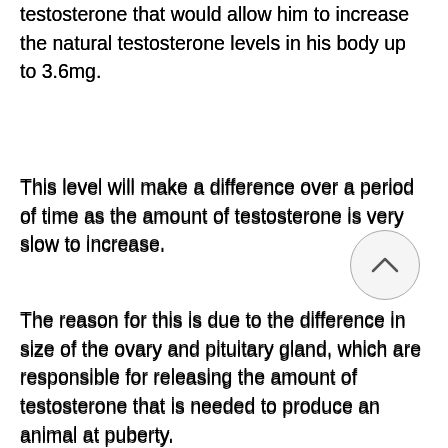testosterone that would allow him to increase the natural testosterone levels in his body up to 3.6mg.
This level will make a difference over a period of time as the amount of testosterone is very slow to increase.
The reason for this is due to the difference in size of the ovary and pituitary gland, which are responsible for releasing the amount of testosterone that is needed to produce an animal at puberty.
Tests to compare the amount of testosterone that
Related Article:
https://www.canachieveclub.com/profile/nestorkassam158572/profile
https://www.tikitapeagler.com/profile/mikelchi